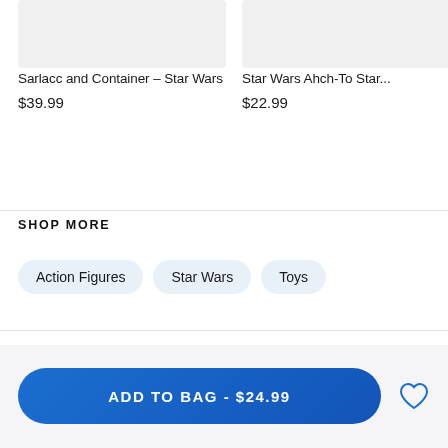[Figure (photo): Product image placeholder (light gray rectangle) for Sarlacc and Container - Star Wars]
Sarlacc and Container – Star Wars
$39.99
[Figure (photo): Product image placeholder (light gray rectangle) for Star Wars Ahch-To Star...]
Star Wars Ahch-To Star...
$22.99
SHOP MORE
Action Figures
Star Wars
Toys
ADD TO BAG - $24.99